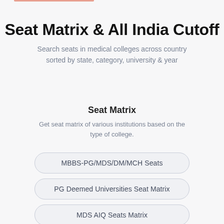Seat Matrix & All India Cutoff
Search seats in medical colleges across country sorted by state, category, university & year
Seat Matrix
Get seat matrix of various institutions based on the type of college.
MBBS-PG/MDS/DM/MCH Seats
PG Deemed Universities Seat Matrix
MDS AIQ Seats Matrix